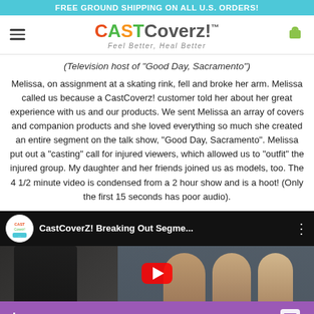FREE GROUND SHIPPING ON ALL U.S. ORDERS!
[Figure (logo): CASTCoverz! logo with tagline 'Feel Better, Heal Better']
(Television host of "Good Day, Sacramento")
Melissa, on assignment at a skating rink, fell and broke her arm. Melissa called us because a CastCoverz! customer told her about her great experience with us and our products. We sent Melissa an array of covers and companion products and she loved everything so much she created an entire segment on the talk show, "Good Day, Sacramento". Melissa put out a "casting" call for injured viewers, which allowed us to "outfit" the injured group. My daughter and her friends joined us as models, too. The 4 1/2 minute video is condensed from a 2 hour show and is a hoot! (Only the first 15 seconds has poor audio).
[Figure (screenshot): YouTube video thumbnail showing 'CastCoverZ! Breaking Out Segme...' with channel icon and people in video frame, with 'Leave a message' purple chat bar at bottom]